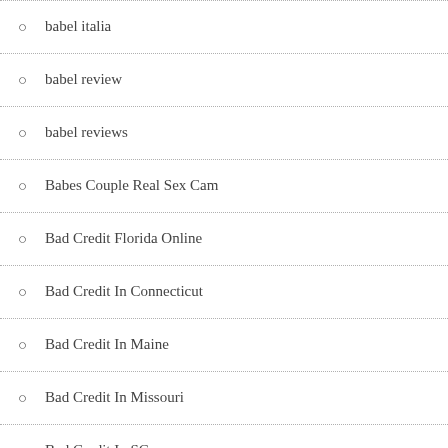babel italia
babel review
babel reviews
Babes Couple Real Sex Cam
Bad Credit Florida Online
Bad Credit In Connecticut
Bad Credit In Maine
Bad Credit In Missouri
Bad Credit In SC
Bad Credit Ky
Bad Credit Loans In Pennsylvania Direct Lenders
Bad Credit Loans In Utah Direct Lenders